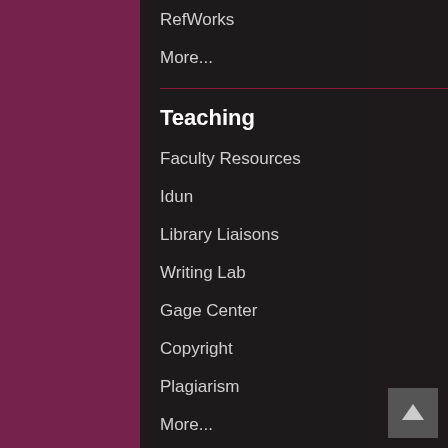RefWorks
More...
Teaching
Faculty Resources
Idun
Library Liaisons
Writing Lab
Gage Center
Copyright
Plagiarism
More...